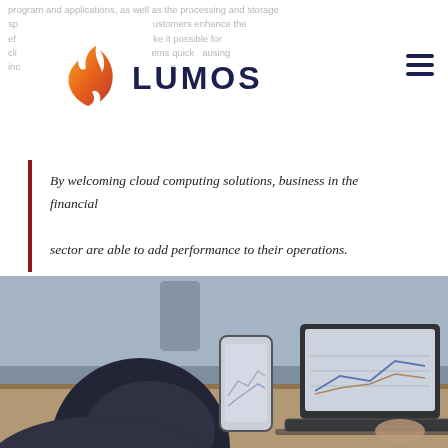program and applications, as well as the processing and storage sp ustomers enhance the ef ke it possible for cli ems quickausing inc n.
[Figure (logo): Lumos logo with orange flame icon and dark navy LUMOS text]
By welcoming cloud computing solutions, business in the financial sector are able to add performance to their operations.
[Figure (photo): Person viewed from behind holding a smartphone displaying financial charts, with a laptop open on a desk also showing financial data]